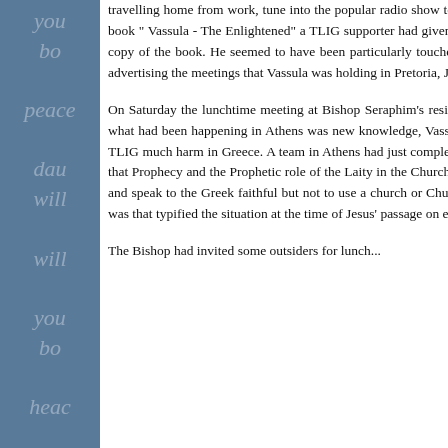[Figure (illustration): Blue sidebar with semi-transparent italic handwritten-style words including 'you', 'bo', 'peace', 'dau', 'will', 'will', 'you', 'bo', 'heac']
travelling home from work, tune into the popular radio show to pass the dreary travelling time. Although known for his scepticism, radio host did have a copy of the book " Vassula - The Enlightened" a TLIG supporter had given him. By the end of the talk he had asked to have a photo taken with him and requested her to sign his copy of the book. He seemed to have been particularly touched by Vassula's description of God the Father. For a number of days he quoted this description whilst advertising the meetings that Vassula was holding in Pretoria, Johannesburg and Soweto.
On Saturday the lunchtime meeting at Bishop Seraphim's residence took place. The lunch with the Bishop turned out to be very warm and friendly. Since much of what had been happening in Athens was new knowledge, Vassula proceeded to tell us all of her run in with the editor of the "Dialogue" publication who had caused TLIG much harm in Greece. A team in Athens had just completed a study of the tradition and writings of the early Church Fathers and Holy Scripture to demonstrate that Prophecy and the Prophetic role of the Laity in the Church has not ceased which confirmed the message of TLIG. The Bishop had been given permission to meet and speak to the Greek faithful but not to use a church or Church property. He indicated that he had no problem with her message and wished her well. His position was that typified the situation at the time of Jesus' passage on earth - if this was from the devil it would not endure.
The Bishop had invited some outsiders for lunch...